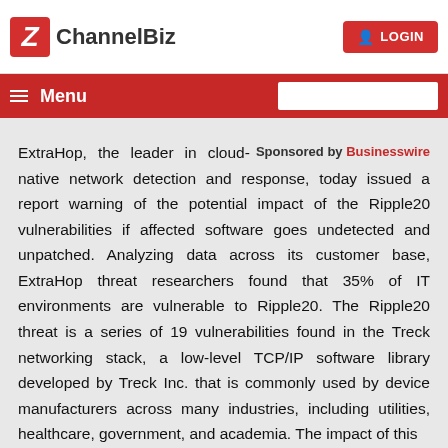ChannelBiz | LOGIN
Menu
Sponsored by Businesswire
ExtraHop, the leader in cloud-native network detection and response, today issued a report warning of the potential impact of the Ripple20 vulnerabilities if affected software goes undetected and unpatched. Analyzing data across its customer base, ExtraHop threat researchers found that 35% of IT environments are vulnerable to Ripple20. The Ripple20 threat is a series of 19 vulnerabilities found in the Treck networking stack, a low-level TCP/IP software library developed by Treck Inc. that is commonly used by device manufacturers across many industries, including utilities, healthcare, government, and academia. The impact of this